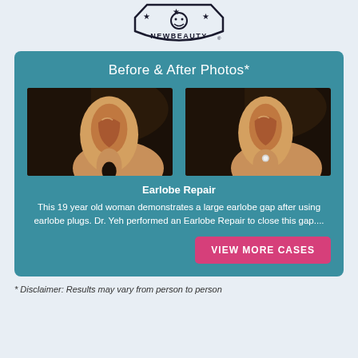[Figure (logo): NewBeauty shield/badge logo with stars at top and 'NEWBEAUTY' text in center]
Before & After Photos*
[Figure (photo): Before photo: side view of a woman's ear showing a large earlobe gap from earlobe plugs]
[Figure (photo): After photo: side view of a woman's ear after earlobe repair procedure, gap closed, small earring visible]
Earlobe Repair
This 19 year old woman demonstrates a large earlobe gap after using earlobe plugs. Dr. Yeh performed an Earlobe Repair to close this gap....
VIEW MORE CASES
* Disclaimer: Results may vary from person to person